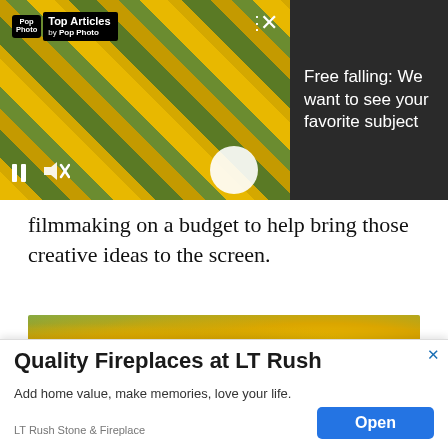[Figure (screenshot): Video player showing flower/nature content with Top Articles by Pop Photo overlay badge, pause and mute controls, white circle button, three-dot menu, and X close button]
Free falling: We want to see your favorite subject
filmmaking on a budget to help bring those creative ideas to the screen.
[Figure (photo): Wide photo of yellow flowers (appears to be marigolds or similar) with green foliage background]
[Figure (screenshot): Advertisement overlay: Quality Fireplaces at LT Rush. Add home value, make memories, love your life. LT Rush Stone & Fireplace. Open button.]